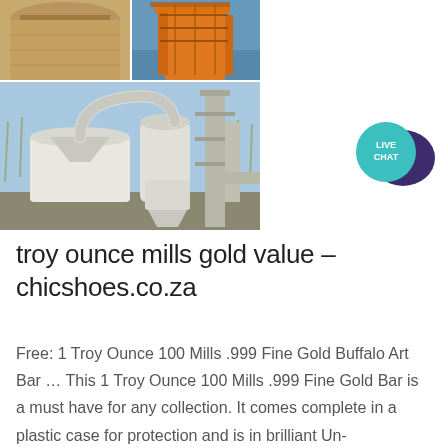[Figure (photo): Top portion: two industrial/mining equipment photos side by side — left shows a large tank/silo, right shows orange industrial machinery with scaffolding.]
[Figure (photo): Bottom portion: large industrial grinding mill equipment (white, with pipes and cyclone separators) outdoors in winter setting.]
[Figure (illustration): Live Chat speech bubble badge with teal/turquoise circle labeled LIVE CHAT and dark purple speech bubble icon.]
troy ounce mills gold value – chicshoes.co.za
Free: 1 Troy Ounce 100 Mills .999 Fine Gold Buffalo Art Bar … This 1 Troy Ounce 100 Mills .999 Fine Gold Bar is a must have for any collection. It comes complete in a plastic case for protection and is in brilliant Un-